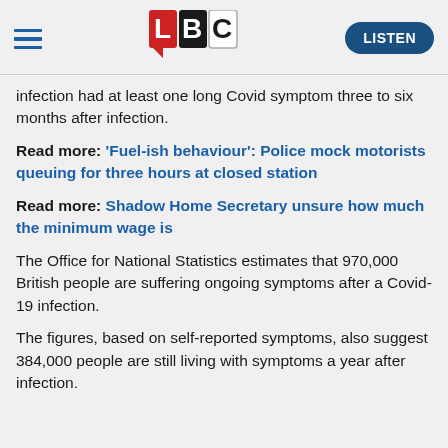LBC — LISTEN
infection had at least one long Covid symptom three to six months after infection.
Read more: 'Fuel-ish behaviour': Police mock motorists queuing for three hours at closed station
Read more: Shadow Home Secretary unsure how much the minimum wage is
The Office for National Statistics estimates that 970,000 British people are suffering ongoing symptoms after a Covid-19 infection.
The figures, based on self-reported symptoms, also suggest 384,000 people are still living with symptoms a year after infection.